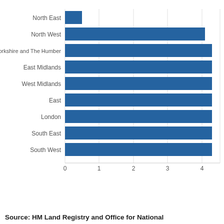[Figure (bar-chart): ]
Source: HM Land Registry and Office for National